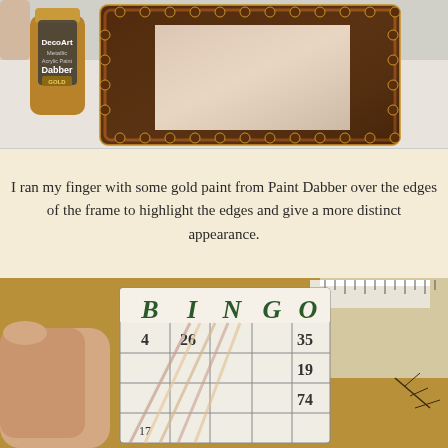[Figure (photo): A decorative ornate picture frame painted dark brown/copper with gold metallic highlights, next to a bottle of DecoArt Metallic Paint Dabber in gold color. The frame has a scalloped/beaded edge and sits on a white surface.]
I ran my finger with some gold paint from Paint Dabber over the edges of the frame to highlight the edges and give a more distinct appearance.
[Figure (photo): A hand holding a vintage-style BINGO card showing numbers including 4, 26, 35, 19, 74 and letters B, I, N, G, O across the top. The card has decorative papers fanned beneath it. In the background is a gold surface with a small coin and some decorative botanical items.]